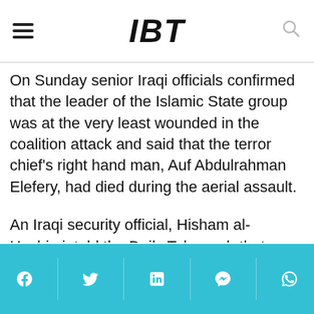IBT
On Sunday senior Iraqi officials confirmed that the leader of the Islamic State group was at the very least wounded in the coalition attack and said that the terror chief's right hand man, Auf Abdulrahman Elefery, had died during the aerial assault.
An Iraqi security official, Hisham al-Hashimi, told the Daily Telegraph that Elefery was "Baghdadi's very close companion. " Elefery's death in the attack was confirmed to him by relatives.
Social share bar: Facebook, Twitter, LinkedIn, Messenger, WhatsApp